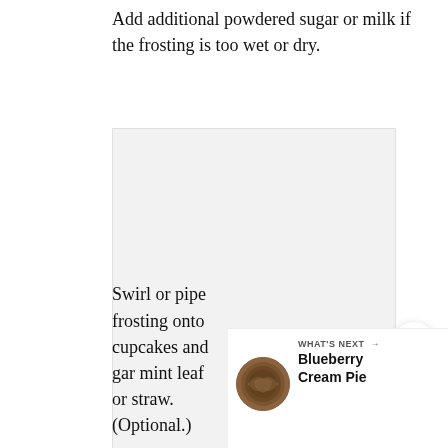Add additional powdered sugar or milk if the frosting is too wet or dry.
[Figure (other): Advertisement placeholder box with three gray dots centered inside a light gray rectangle]
[Figure (other): Share button (circular white button with share icon)]
[Figure (other): WHAT'S NEXT promotional bar showing a circular image of Blueberry Cream Pie with the label 'WHAT'S NEXT →' and title 'Blueberry Cream Pie']
Swirl or pipe frosting onto cupcakes and gar mint leaf or straw. (Optional.)